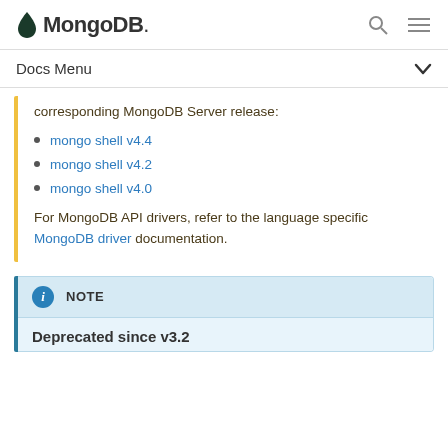MongoDB.
Docs Menu
corresponding MongoDB Server release:
mongo shell v4.4
mongo shell v4.2
mongo shell v4.0
For MongoDB API drivers, refer to the language specific MongoDB driver documentation.
NOTE
Deprecated since v3.2